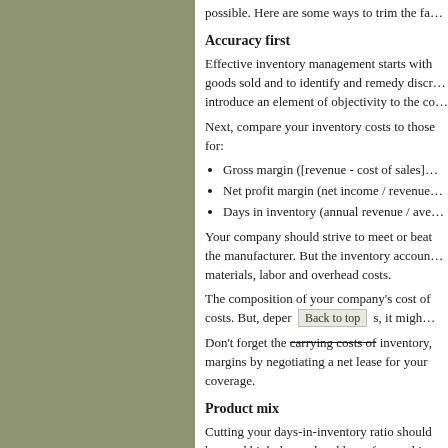possible. Here are some ways to trim the fa…
Accuracy first
Effective inventory management starts with goods sold and to identify and remedy discr… introduce an element of objectivity to the co…
Next, compare your inventory costs to those for:
Gross margin ([revenue - cost of sales]…
Net profit margin (net income / revenue…
Days in inventory (annual revenue / ave…
Your company should strive to meet or beat the manufacturer. But the inventory accoun… materials, labor and overhead costs.
The composition of your company's cost of costs. But, deper [Back to top] s, it migh…
Don't forget the carrying costs of inventory, margins by negotiating a net lease for your coverage.
Product mix
Cutting your days-in-inventory ratio should b… and high demand and less of everything els… products to your suppliers.